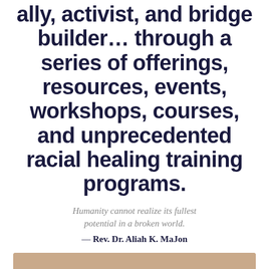ally, activist, and bridge builder… through a series of offerings, resources, events, workshops, courses, and unprecedented racial healing training programs.
Humanity cannot realize its fullest potential in a broken world.
— Rev. Dr. Aliah K. MaJon
[Figure (photo): Two hands from people of different skin tones gently touching fingertips against a warm beige/tan background, symbolizing connection and racial healing.]